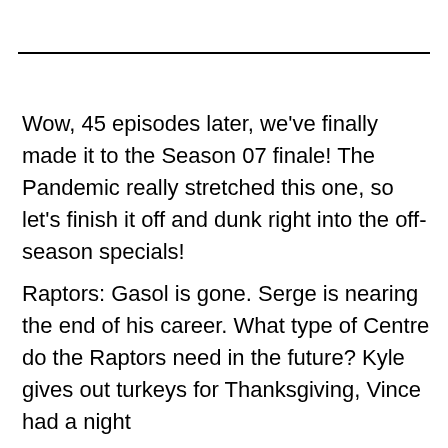Wow, 45 episodes later, we've finally made it to the Season 07 finale! The Pandemic really stretched this one, so let's finish it off and dunk right into the off-season specials!
Raptors: Gasol is gone. Serge is nearing the end of his career. What type of Centre do the Raptors need in the future? Kyle gives out turkeys for Thanksgiving, Vince had a night club and Amir did the Zambini roll. What...